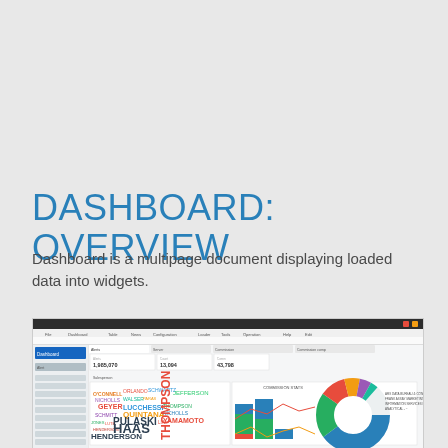DASHBOARD: OVERVIEW
Dashboard is a multipage document displaying loaded data into widgets.
[Figure (screenshot): Screenshot of a dashboard application showing a word cloud with names (HAAS, HENDERSON, PULASKI, THOMPSON, YAMAMOTO, etc.), bar charts, a donut chart, and metric boxes displaying values like 1,985,070 and 13,094.]